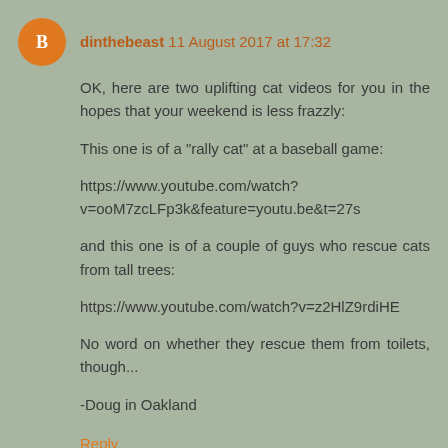[Figure (illustration): Orange circular avatar with white Blogger 'B' icon]
dinthebeast 11 August 2017 at 17:32
OK, here are two uplifting cat videos for you in the hopes that your weekend is less frazzly:
This one is of a "rally cat" at a baseball game:
https://www.youtube.com/watch?v=ooM7zcLFp3k&feature=youtu.be&t=27s
and this one is of a couple of guys who rescue cats from tall trees:
https://www.youtube.com/watch?v=z2HlZ9rdiHE
No word on whether they rescue them from toilets, though...
-Doug in Oakland
Reply